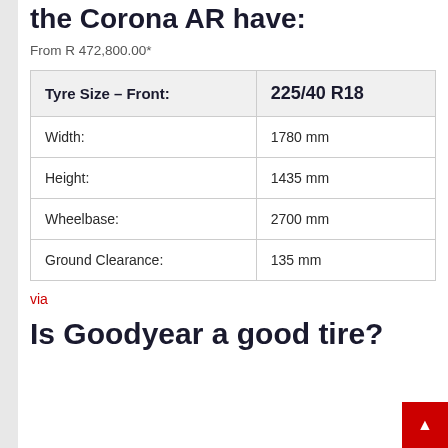the Corona AR have:
From R 472,800.00*
| Tyre Size – Front: | 225/40 R18 |
| --- | --- |
| Width: | 1780 mm |
| Height: | 1435 mm |
| Wheelbase: | 2700 mm |
| Ground Clearance: | 135 mm |
via
Is Goodyear a good tire?